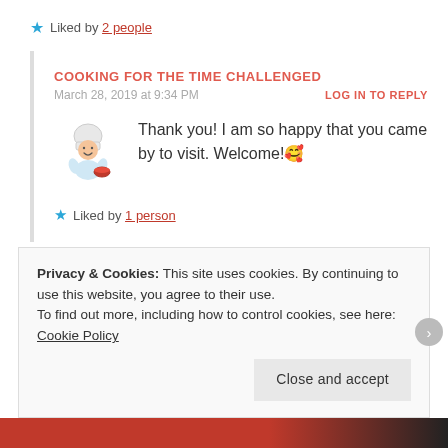★ Liked by 2 people
COOKING FOR THE TIME CHALLENGED
March 28, 2019 at 9:34 PM
LOG IN TO REPLY
[Figure (illustration): Cartoon chef avatar holding a pot]
Thank you! I am so happy that you came by to visit. Welcome!😊
★ Liked by 1 person
COOKING FOR THE TIME CHALLENGED
Privacy & Cookies: This site uses cookies. By continuing to use this website, you agree to their use. To find out more, including how to control cookies, see here: Cookie Policy
Close and accept